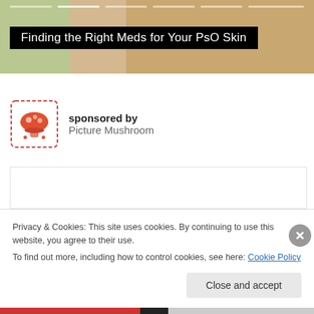[Figure (photo): Screenshot of a medical/health website showing a header image with skin and hands, with a black banner overlay reading 'Finding the Right Meds for Your PsO Skin']
Finding the Right Meds for Your PsO Skin
sponsored by
Picture Mushroom
Privacy & Cookies: This site uses cookies. By continuing to use this website, you agree to their use.
To find out more, including how to control cookies, see here: Cookie Policy
Close and accept